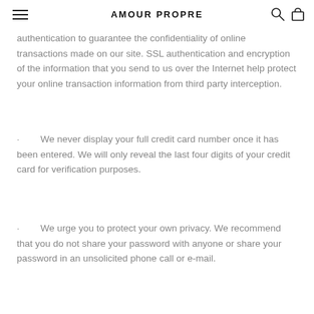AMOUR PROPRE
authentication to guarantee the confidentiality of online transactions made on our site. SSL authentication and encryption of the information that you send to us over the Internet help protect your online transaction information from third party interception.
·        We never display your full credit card number once it has been entered. We will only reveal the last four digits of your credit card for verification purposes.
·        We urge you to protect your own privacy. We recommend that you do not share your password with anyone or share your password in an unsolicited phone call or e-mail.